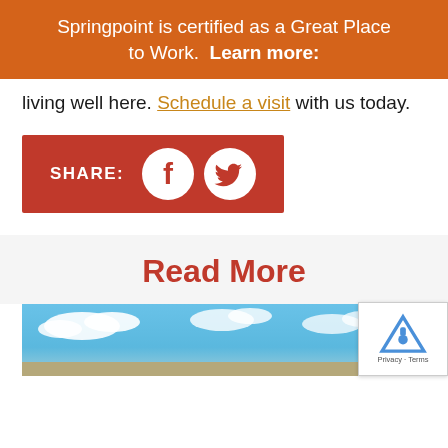Springpoint is certified as a Great Place to Work.  Learn more:
living well here. Schedule a visit with us today.
[Figure (infographic): Red share bar with Facebook and Twitter circular icons and 'SHARE:' label in white]
Read More
[Figure (photo): Outdoor photo showing blue sky with white clouds and landscape below]